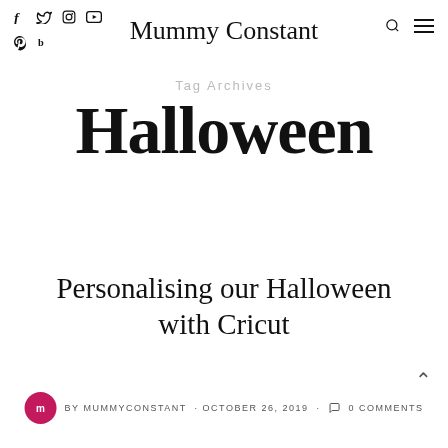Mummy Constant
Tag Archives
Halloween
Personalising our Halloween with Cricut
BY MUMMYCONSTANT · OCTOBER 26, 2019 · 0 COMMENTS